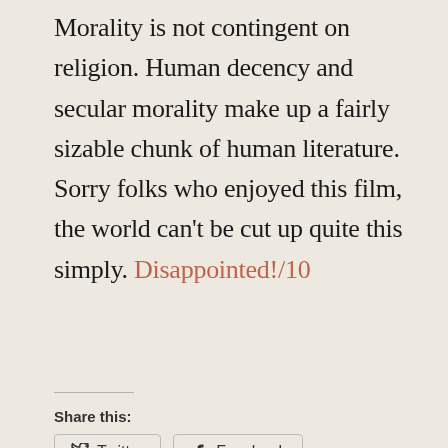Morality is not contingent on religion. Human decency and secular morality make up a fairly sizable chunk of human literature. Sorry folks who enjoyed this film, the world can't be cut up quite this simply. Disappointed!/10
Share this:
[Figure (other): Twitter and Facebook share buttons]
Loading...
RELATED
X (2022) Film Review   Prey (2022) Film